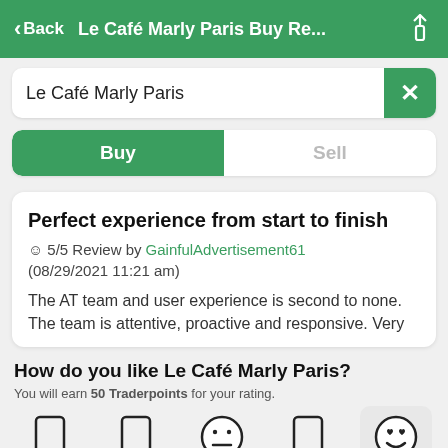Back  Le Café Marly Paris Buy Re...
Le Café Marly Paris
Buy  Sell
Perfect experience from start to finish
☺ 5/5 Review by GainfulAdvertisement61 (08/29/2021 11:21 am)
The AT team and user experience is second to none. The team is attentive, proactive and responsive. Very
How do you like Le Café Marly Paris?
You will earn 50 Traderpoints for your rating.
[Figure (infographic): Rating emoji row with 5 emoji faces: neutral/blank, blank, expressionless, blank, and happy face with heart eyes (selected/highlighted)]